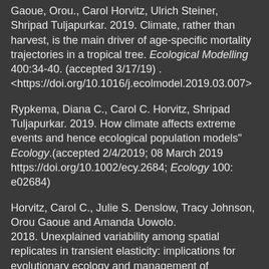Gaoue, Orou., Carol Horvitz, Ulrich Steiner, Shripad Tuljapurkar. 2019. Climate, rather than harvest, is the main driver of age-specific mortality trajectories in a tropical tree. Ecological Modelling 400:34-40. (accepted 3/17/19) . <https://doi.org/10.1016/j.ecolmodel.2019.03.007>
Rypkema, Diana C., Carol C. Horvitz, Shripad Tuljapurkar. 2019. How climate affects extreme events and hence ecological population models" Ecology.(accepted 2/4/2019; 08 March 2019 https://doi.org/10.1002/ecy.2684; Ecology 100: e02684)
Horvitz, Carol C., Julie S. Denslow, Tracy Johnson, Orou Gaoue and Amanda Uowolo. 2018. Unexplained variability among spatial replicates in transient elasticity: implications for evolutionary ecology and management of